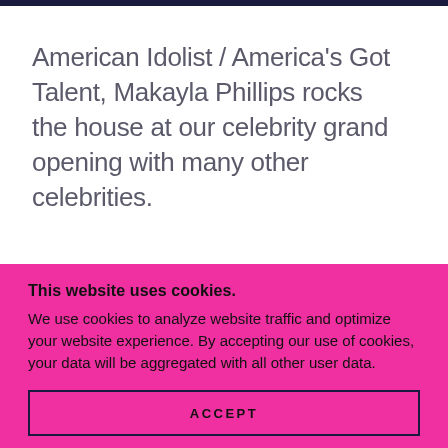American Idolist / America's Got Talent, Makayla Phillips rocks the house at our celebrity grand opening with many other celebrities.
This website uses cookies.
We use cookies to analyze website traffic and optimize your website experience. By accepting our use of cookies, your data will be aggregated with all other user data.
ACCEPT